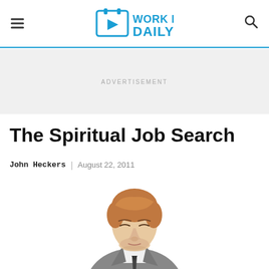Work It Daily — navigation header with hamburger menu, logo, and search icon
ADVERTISEMENT
The Spiritual Job Search
John Heckers  |  August 22, 2011
[Figure (photo): A young man in a grey suit and dark tie with his eyes closed, head tilted back slightly, appearing meditative or contemplative, photographed against a white background from the chest up.]